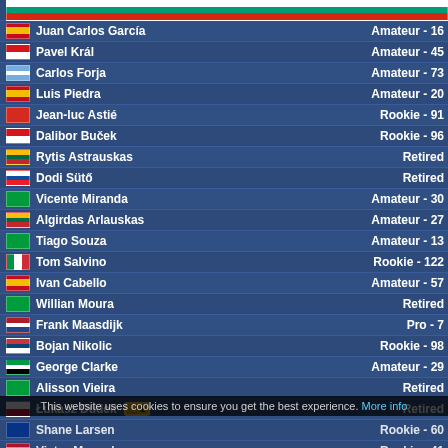Aleksandar Aleksandrov - Master - 2
Juan Carlos García - Amateur - 16
Pavel Král - Amateur - 45
Carlos Forja - Amateur - 73
Luis Piedra - Amateur - 20
Jean-luc Astié - Rookie - 91
Dalibor Buček - Rookie - 96
Rytis Astrauskas - Retired
Dodi Sütő - Retired
Vicente Miranda - Amateur - 30
Algirdas Arlauskas - Amateur - 27
Tiago Souza - Amateur - 13
Tom Salvino - Rookie - 122
Ivan Cabello - Amateur - 57
Willian Moura - Retired
Frank Maasdijk - Pro - 7
Bojan Nikolic - Rookie - 98
George Clarke - Amateur - 29
Alisson Vieira - Retired
Łukasz Dudek [trophy 1] - Retired
Shane Larsen - Rookie - 60
Victor Manuel - Rookie - 41
Marco Perazzo - Retired
Sergio Inglesmith - Amateur - 78
This website uses cookies to ensure you get the best experience. More info
Got it!